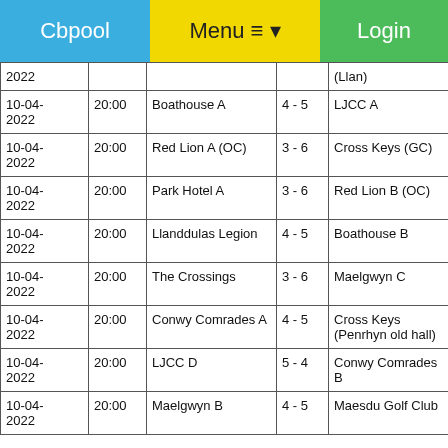Cbpool  Menu ≡ ▾  Login
| 2022 |  |  |  | (Llan) |
| 10-04-2022 | 20:00 | Boathouse A | 4 - 5 | LJCC A |
| 10-04-2022 | 20:00 | Red Lion A (OC) | 3 - 6 | Cross Keys (GC) |
| 10-04-2022 | 20:00 | Park Hotel A | 3 - 6 | Red Lion B (OC) |
| 10-04-2022 | 20:00 | Llanddulas Legion | 4 - 5 | Boathouse B |
| 10-04-2022 | 20:00 | The Crossings | 3 - 6 | Maelgwyn C |
| 10-04-2022 | 20:00 | Conwy Comrades A | 4 - 5 | Cross Keys (Penrhyn old hall) |
| 10-04-2022 | 20:00 | LJCC D | 5 - 4 | Conwy Comrades B |
| 10-04-2022 | 20:00 | Maelgwyn B | 4 - 5 | Maesdu Golf Club |